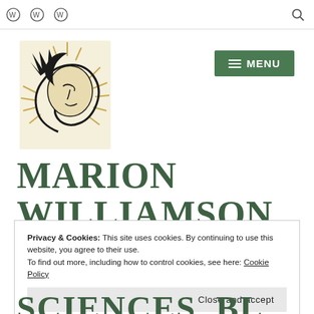WordPress navigation bar with icons and search
[Figure (logo): Decorative sun/face illustration logo — black ink drawing of a face with sun rays around it on a cream background]
MARION WILLIAMSON
Privacy & Cookies: This site uses cookies. By continuing to use this website, you agree to their use. To find out more, including how to control cookies, see here: Cookie Policy
Close and accept